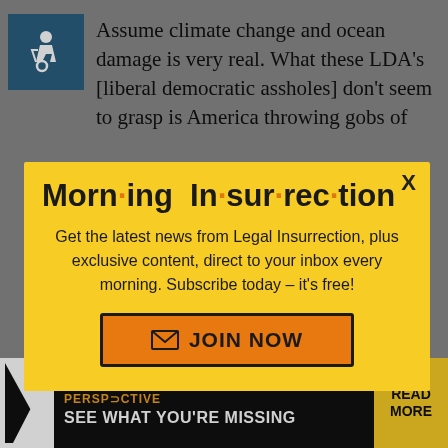[Figure (screenshot): Screenshot of a webpage with a modal popup overlay. Background shows grey page with accessibility icon and article text. Foreground shows a yellow modal newsletter signup popup for 'Morning Insurrection' from Legal Insurrection, with an orange JOIN NOW button. Bottom has a black ad bar reading 'THE PERSPECTIVE - SEE WHAT YOU'RE MISSING - READ MORE'.]
Assume climate change and ocean damage is very real. What these LDA's [liberal democratic assholes] don't seem to grasp is America throwing gobs of
Morn·ing In·sur·rec·tion
Get the latest news from Legal Insurrection, plus exclusive content, direct to your inbox every morning. Subscribe today – it's free!
JOIN NOW
participates, nothing will change. There is no problem to solve.
texannie in reply to stablesort
THE PERSPECTIVE SEE WHAT YOU'RE MISSING READ MORE